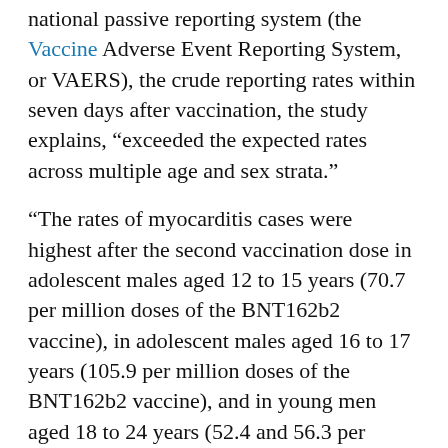national passive reporting system (the Vaccine Adverse Event Reporting System, or VAERS), the crude reporting rates within seven days after vaccination, the study explains, "exceeded the expected rates across multiple age and sex strata."
"The rates of myocarditis cases were highest after the second vaccination dose in adolescent males aged 12 to 15 years (70.7 per million doses of the BNT162b2 vaccine), in adolescent males aged 16 to 17 years (105.9 per million doses of the BNT162b2 vaccine), and in young men aged 18 to 24 years (52.4 and 56.3 per million doses of the BNT162b2 vaccine and the mRNA-1273 vaccine, respectively)," the study reveals.
Do mRNA shots target young men at a disproportionately higher rate than